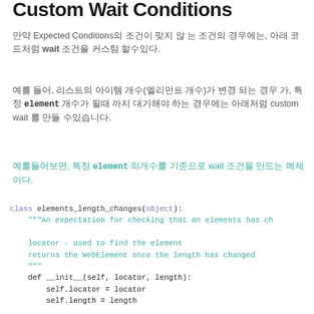Custom Wait Conditions
만약 Expected Conditions의 조건이 맞지 않 는 조건의 경우에는, 아래 코드처럼 wait 조건을 커스텀 할수있다.
예를 들어, 리스트의 아이템 개수(엘리먼트 개수)가 변경 되는 경우 가, 특정 element 개수가 될때 까지 대기해야 하는 경우에는 아래처럼 custom wait 를 만들 수있습니다.
예를들어보면, 특정 element 의개수를 기준으로 wait 조건을 만드는 예제 이다.
[Figure (screenshot): Python code block defining a class elements_length_changes(object) with docstring, __init__ method setting self.locator and self.length, and __call__ method starting with elements = driver.find_elements(*self.locator)]